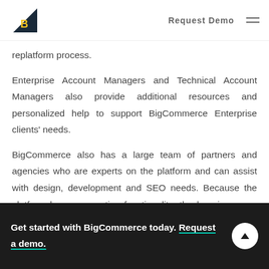Request Demo
replatform process.
Enterprise Account Managers and Technical Account Managers also provide additional resources and personalized help to support BigCommerce Enterprise clients' needs.
BigCommerce also has a large team of partners and agencies who are experts on the platform and can assist with design, development and SEO needs. Because the platform has more native functionality, the learning curve may be more
Get started with BigCommerce today. Request a demo.